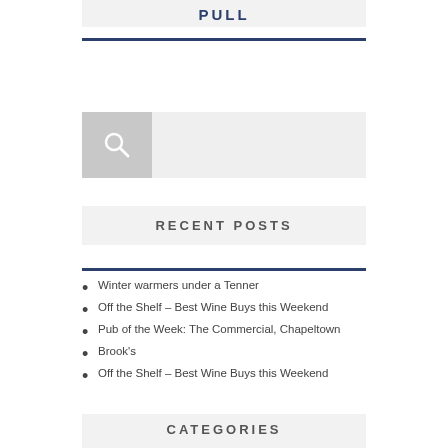PULL
[Figure (other): Search box with magnifying glass icon on grey background and input field]
RECENT POSTS
Winter warmers under a Tenner
Off the Shelf – Best Wine Buys this Weekend
Pub of the Week: The Commercial, Chapeltown
Brook's
Off the Shelf – Best Wine Buys this Weekend
CATEGORIES